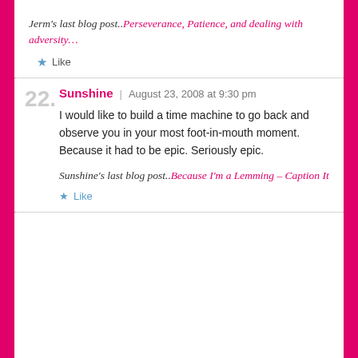Jerm's last blog post..Perseverance, Patience, and dealing with adversity…
★ Like
22. Sunshine | August 23, 2008 at 9:30 pm
I would like to build a time machine to go back and observe you in your most foot-in-mouth moment. Because it had to be epic. Seriously epic.
Sunshine's last blog post..Because I'm a Lemming – Caption It
★ Like